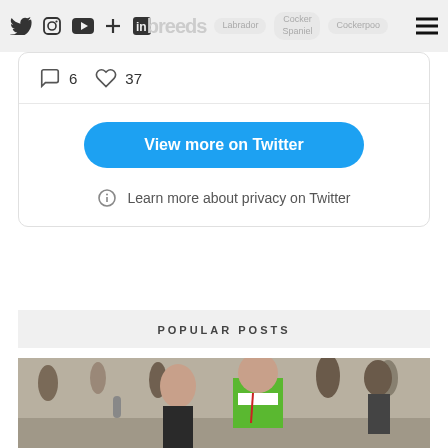breeds | Labrador | Cocker Spaniel | Cockerpoo
6 comments  37 likes
View more on Twitter
Learn more about privacy on Twitter
POPULAR POSTS
[Figure (photo): Two people posing at what appears to be a running event or marathon. One person wears a green athletic vest. Crowd visible in background.]